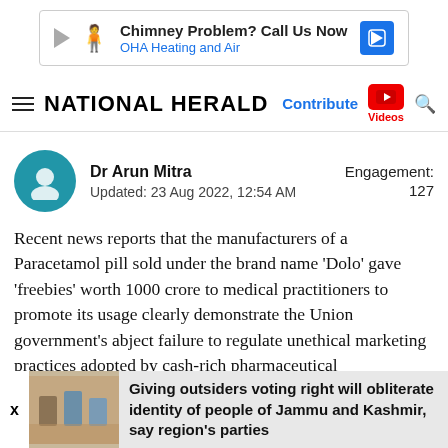[Figure (screenshot): Advertisement banner: 'Chimney Problem? Call Us Now / OHA Heating and Air' with play icon, person icon, and blue navigation arrow icon]
NATIONAL HERALD — Contribute | Videos | Search
Dr Arun Mitra
Updated: 23 Aug 2022, 12:54 AM
Engagement: 127
Recent news reports that the manufacturers of a Paracetamol pill sold under the brand name 'Dolo' gave 'freebies' worth 1000 crore to medical practitioners to promote its usage clearly demonstrate the Union government's abject failure to regulate unethical marketing practices adopted by cash-rich pharmaceutical
Giving outsiders voting right will obliterate identity of people of Jammu and Kashmir, say region's parties